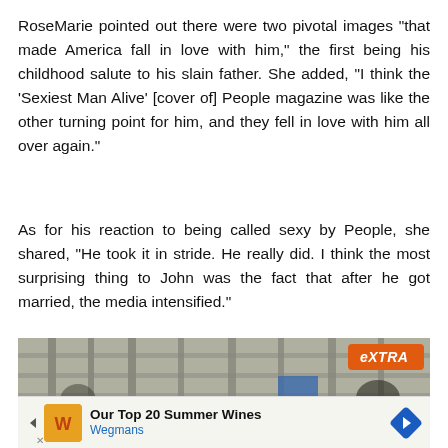RoseMarie pointed out there were two pivotal images "that made America fall in love with him," the first being his childhood salute to his slain father. She added, "I think the 'Sexiest Man Alive' [cover of] People magazine was like the other turning point for him, and they fell in love with him all over again."
As for his reaction to being called sexy by People, she shared, "He took it in stride. He really did. I think the most surprising thing to John was the fact that after he got married, the media intensified."
[Figure (screenshot): Video screenshot showing a TV broadcast with the 'eXTRA' logo badge in the top-right corner, overlaid with an advertisement bar at the bottom reading 'Our Top 20 Summer Wines' from Wegmans.]